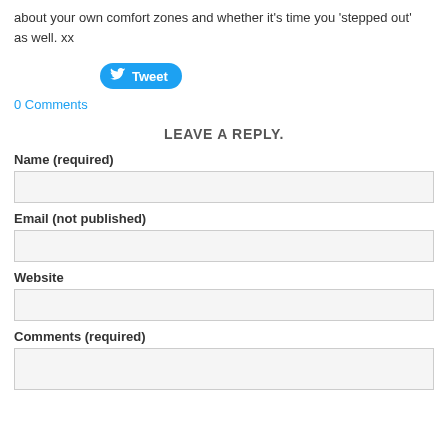about your own comfort zones and whether it's time you 'stepped out' as well. xx
[Figure (other): Twitter Tweet button - blue rounded button with bird icon and 'Tweet' text]
0 Comments
LEAVE A REPLY.
Name (required)
Email (not published)
Website
Comments (required)